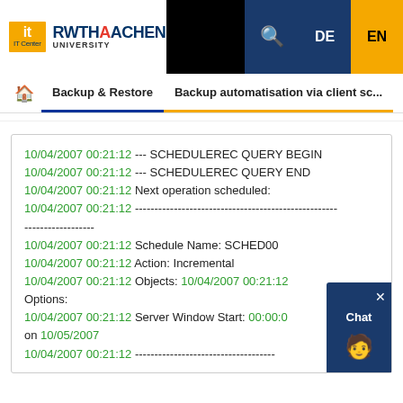[Figure (logo): IT Center RWTH Aachen University logo with navigation bar showing search icon, DE and EN language buttons]
Backup & Restore | Backup automatisation via client sc...
10/04/2007 00:21:12 --- SCHEDULEREC QUERY BEGIN
10/04/2007 00:21:12 --- SCHEDULEREC QUERY END
10/04/2007 00:21:12 Next operation scheduled:
10/04/2007 00:21:12 -------------------------------------------------------------
10/04/2007 00:21:12 Schedule Name: SCHED00
10/04/2007 00:21:12 Action: Incremental
10/04/2007 00:21:12 Objects: 10/04/2007 00:21:12
Options:
10/04/2007 00:21:12 Server Window Start: 00:00:0 on 10/05/2007
10/04/2007 00:21:12 -------------------------------------------------------